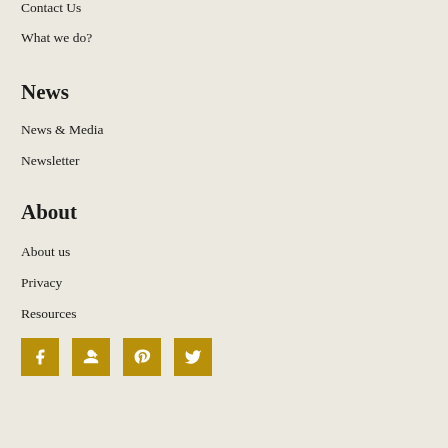Contact Us
What we do?
News
News & Media
Newsletter
About
About us
Privacy
Resources
[Figure (other): Social media icon buttons for Facebook, Google+, Pinterest, and Twitter in gold/yellow squares]